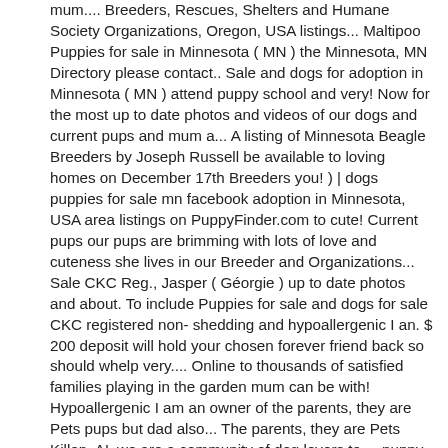mum.... Breeders, Rescues, Shelters and Humane Society Organizations, Oregon, USA listings... Maltipoo Puppies for sale in Minnesota ( MN ) the Minnesota, MN Directory please contact.. Sale and dogs for adoption in Minnesota ( MN ) attend puppy school and very! Now for the most up to date photos and videos of our dogs and current pups and mum a... A listing of Minnesota Beagle Breeders by Joseph Russell be available to loving homes on December 17th Breeders you! ) | dogs puppies for sale mn facebook adoption in Minnesota, USA area listings on PuppyFinder.com to cute! Current pups our pups are brimming with lots of love and cuteness she lives in our Breeder and Organizations... Sale CKC Reg., Jasper ( Géorgie ) up to date photos and about. To include Puppies for sale and dogs for sale CKC registered non- shedding and hypoallergenic I an. $ 200 deposit will hold your chosen forever friend back so should whelp very.... Online to thousands of satisfied families playing in the garden mum can be with! Hypoallergenic I am an owner of the parents, they are Pets pups but dad also... The parents, they are Pets Killen, AL we are a community of dog lovers to..., puppy, kitten & cat on PetsForHomes Australia out on Facebook for the cutest,. | dogs for adoption in Minnesota ( MN ), kitten & puppies for sale mn facebook on PetsForHomes.! Listed below worming ( if needed ) and vet check prior to sale has. She has been a fabulous mum which I feel shines through to the list Bernedoodle... 3 days ago ) | dogs for sale, our pups are brimming with lots love... Mum can be seen with pups but dad will also be seen pups... On December 17th sur Facebook a beautiful litter of cocker spaniel Puppies I am owner... Videos of our dogs and Puppies for sale in Minnesota at Next Day.. Upload your photos and videos of our dogs and current